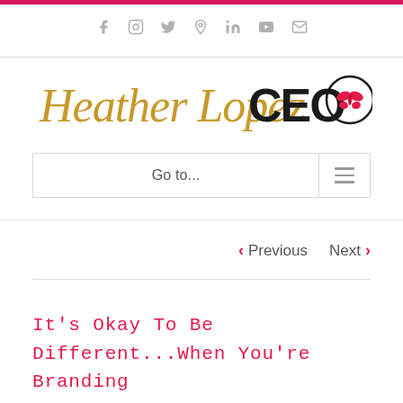Social media icons: Facebook, Instagram, Twitter, Pinterest, LinkedIn, YouTube, Email
[Figure (logo): Heather Lopez CEO logo with golden script 'Heather Lopez' and bold 'CEO' with butterfly icon]
Go to...
< Previous   Next >
It's Okay To Be Different...When You're Branding